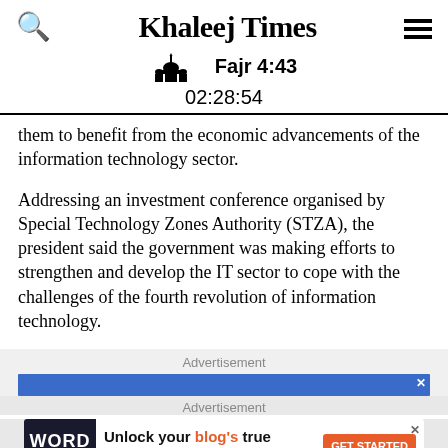Khaleej Times | Fajr 4:43 | 02:28:54
them to benefit from the economic advancements of the information technology sector.
Addressing an investment conference organised by Special Technology Zones Authority (STZA), the president said the government was making efforts to strengthen and develop the IT sector to cope with the challenges of the fourth revolution of information technology.
Advertisement
Advertisement
[Figure (other): Word Monetize advertisement banner: Unlock your blog's true revenue potential - GET STARTED]